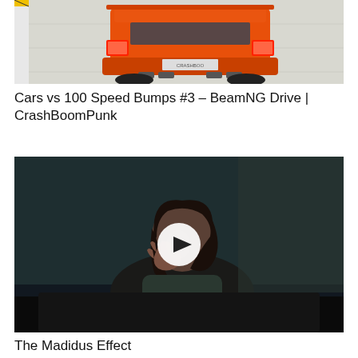[Figure (photo): Rear view of an orange sports car on a flat surface with yellow barriers in the background, showing exhaust pipes and a license plate area. Screenshot from BeamNG Drive game.]
Cars vs 100 Speed Bumps #3 – BeamNG Drive | CrashBoomPunk
[Figure (screenshot): Dark video thumbnail showing a person with their hand raised near their face in a dimly lit scene, with a white circular play button overlay in the center.]
The Madidus Effect